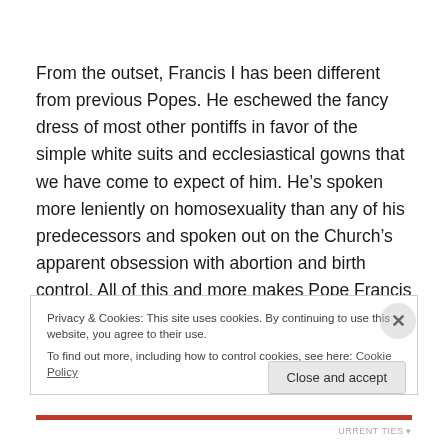From the outset, Francis I has been different from previous Popes. He eschewed the fancy dress of most other pontiffs in favor of the simple white suits and ecclesiastical gowns that we have come to expect of him. He's spoken more leniently on homosexuality than any of his predecessors and spoken out on the Church's apparent obsession with abortion and birth control. All of this and more makes Pope Francis I a leader of today, not just
Privacy & Cookies: This site uses cookies. By continuing to use this website, you agree to their use.
To find out more, including how to control cookies, see here: Cookie Policy
Close and accept